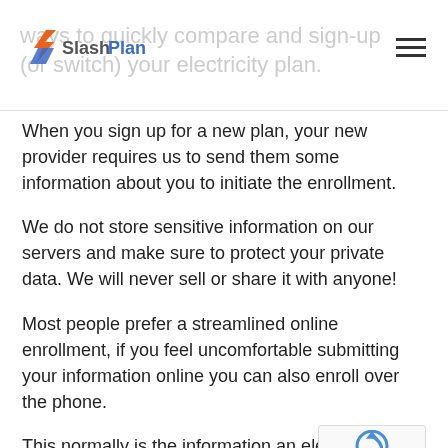ways to quickly compare and sign-up (or switch) your electricity plan. SlashPlan
When you sign up for a new plan, your new provider requires us to send them some information about you to initiate the enrollment.
We do not store sensitive information on our servers and make sure to protect your private data. We will never sell or share it with anyone!
Most people prefer a streamlined online enrollment, if you feel uncomfortable submitting your information online you can also enroll over the phone.
This normally is the information an electric company will require you to provide: